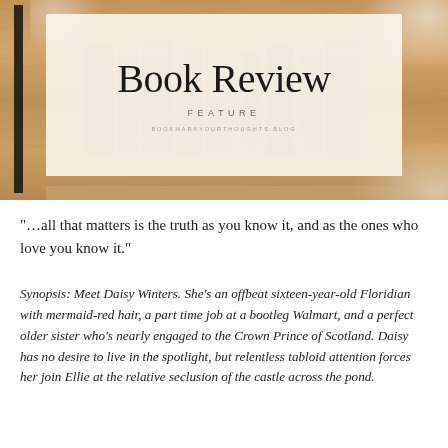[Figure (illustration): Book Review Feature banner with wooden/floral background, semi-transparent cream card overlay showing 'Book Review' title in large serif font, 'FEATURE' subtitle in small caps, and 'bookmarkyourthoughts.blog' URL text. A dark book spine is visible on the left edge.]
“…all that matters is the truth as you know it, and as the ones who love you know it.”
Synopsis: Meet Daisy Winters. She’s an offbeat sixteen-year-old Floridian with mermaid-red hair, a part time job at a bootleg Walmart, and a perfect older sister who’s nearly engaged to the Crown Prince of Scotland. Daisy has no desire to live in the spotlight, but relentless tabloid attention forces her join Ellie at the relative seclusion of the castle across the pond.